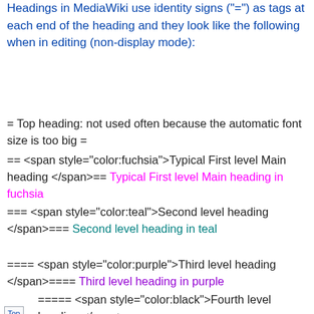Headings in MediaWiki use identity signs ("=") as tags at each end of the heading and they look like the following when in editing (non-display mode):
= Top heading: not used often because the automatic font size is too big =
== <span style="color:fuchsia">Typical First level Main heading </span>== Typical First level Main heading in fuchsia
=== <span style="color:teal">Second level heading </span>=== Second level heading in teal
==== <span style="color:purple">Third level heading </span>==== Third level heading in purple
===== <span style="color:black">Fourth level heading </span>=====